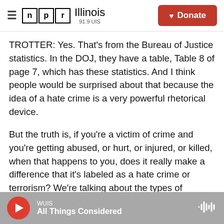NPR Illinois 91.9 UIS | Donate
TROTTER: Yes. That's from the Bureau of Justice statistics. In the DOJ, they have a table, Table 8 of page 7, which has these statistics. And I think people would be surprised about that because the idea of a hate crime is a very powerful rhetorical device.
But the truth is, if you're a victim of crime and you're getting abused, or hurt, or injured, or killed, when that happens to you, does it really make a difference that it's labeled as a hate crime or terrorism? We're talking about the types of punishment that result from whether it's labeled a
WUIS All Things Considered